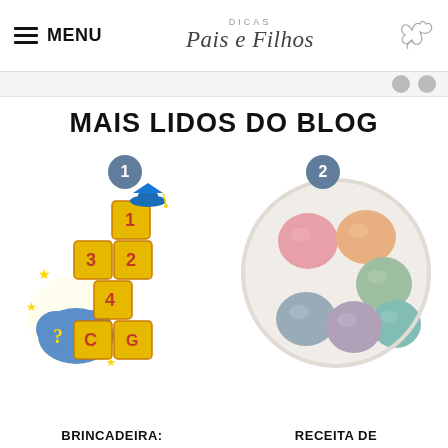MENU | DICAS Pais e Filhos
MAIS LIDOS DO BLOG
[Figure (illustration): Illustration of numbered hopscotch blocks with a blue graduation cap and yellow stars with a blue cloud showing question marks — educational children's game graphic. Badge number 1 in grey circle.]
[Figure (photo): Photo of colorful pastel dough balls in pink, orange, green, teal, blue, and purple arranged on a white plate. Badge number 2 in grey circle.]
BRINCADEIRA:
RECEITA DE